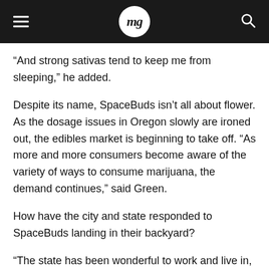mg
“And strong sativas tend to keep me from sleeping,” he added.
Despite its name, SpaceBuds isn’t all about flower. As the dosage issues in Oregon slowly are ironed out, the edibles market is beginning to take off. “As more and more consumers become aware of the variety of ways to consume marijuana, the demand continues,” said Green.
How have the city and state responded to SpaceBuds landing in their backyard?
“The state has been wonderful to work and live in, and we are very excited,” said Green. “SpaceBuds will do its best to keep Eugene weird and educated when it comes to retail